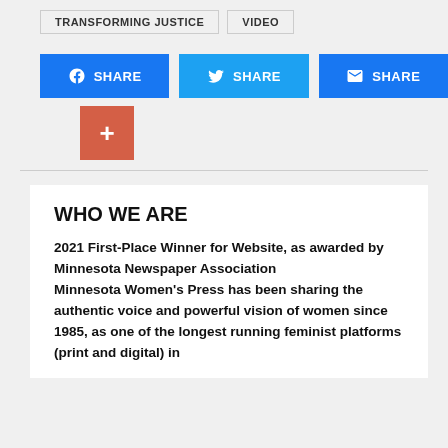TRANSFORMING JUSTICE   VIDEO
[Figure (other): Three social share buttons (Facebook SHARE, Twitter SHARE, Email SHARE) and a red plus button below]
WHO WE ARE
2021 First-Place Winner for Website, as awarded by Minnesota Newspaper Association
Minnesota Women's Press has been sharing the authentic voice and powerful vision of women since 1985, as one of the longest running feminist platforms (print and digital) in